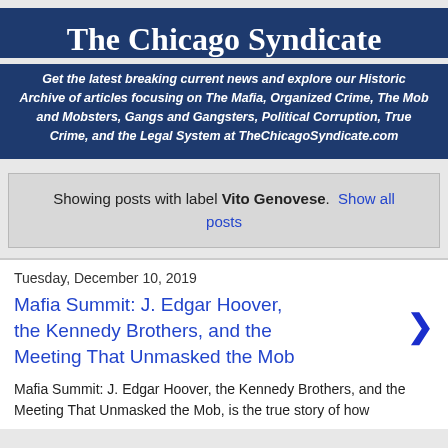The Chicago Syndicate
Get the latest breaking current news and explore our Historic Archive of articles focusing on The Mafia, Organized Crime, The Mob and Mobsters, Gangs and Gangsters, Political Corruption, True Crime, and the Legal System at TheChicagoSyndicate.com
Showing posts with label Vito Genovese. Show all posts
Tuesday, December 10, 2019
Mafia Summit: J. Edgar Hoover, the Kennedy Brothers, and the Meeting That Unmasked the Mob
Mafia Summit: J. Edgar Hoover, the Kennedy Brothers, and the Meeting That Unmasked the Mob, is the true story of how